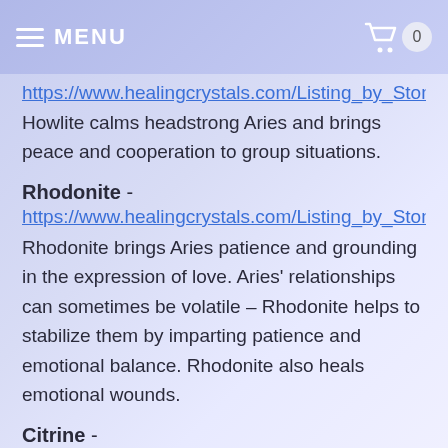MENU
https://www.healingcrystals.com/Listing_by_Stone_Type
Howlite calms headstrong Aries and brings peace and cooperation to group situations.
Rhodonite -
https://www.healingcrystals.com/Listing_by_Stone_Type
Rhodonite brings Aries patience and grounding in the expression of love. Aries’ relationships can sometimes be volatile – Rhodonite helps to stabilize them by imparting patience and emotional balance. Rhodonite also heals emotional wounds.
Citrine -
https://www.healingcrystals.com/Listing_by_Stone_Type
Citrine is helpful at soothing group or family discord. Citrine helps Aries accept and learn from constructive